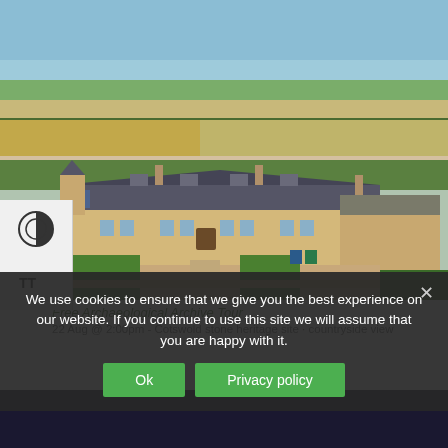[Figure (photo): Aerial photograph of a Cotswold stone building complex with multiple attached houses, slate/stone roofs, green lawns, and surrounding agricultural fields and countryside under a blue sky.]
Free Archaeological Archive Tour
22 Aug @ 2:00pm - Cotswold stone buildings, countryside view
[Figure (photo): Dark-toned partial image at the bottom of the page.]
We use cookies to ensure that we give you the best experience on our website. If you continue to use this site we will assume that you are happy with it.